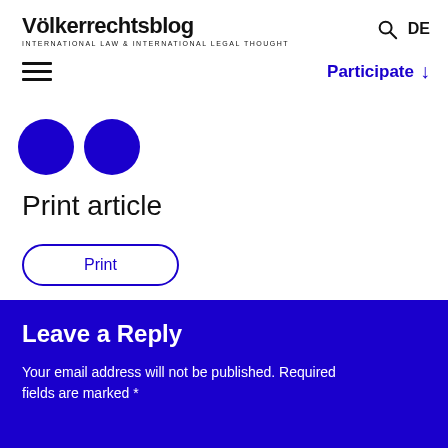Völkerrechtsblog
INTERNATIONAL LAW & INTERNATIONAL LEGAL THOUGHT
[Figure (logo): Two blue circular social media icons (Facebook and Twitter/other)]
Print article
Print
Leave a Reply
Your email address will not be published. Required fields are marked *